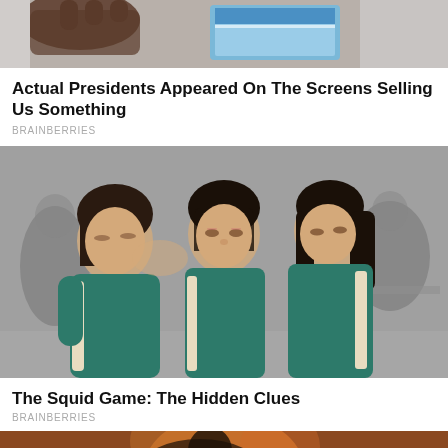[Figure (photo): Partial view of a hand holding a phone, cropped at top of page]
Actual Presidents Appeared On The Screens Selling Us Something
BRAINBERRIES
[Figure (photo): Three young women in teal/green tracksuits huddled together, heads touching, from Squid Game TV show, black and white background]
The Squid Game: The Hidden Clues
BRAINBERRIES
[Figure (photo): Partial view of another article image at the bottom, cropped]